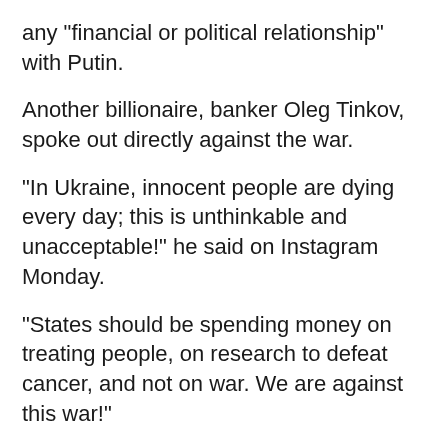any "financial or political relationship" with Putin.
Another billionaire, banker Oleg Tinkov, spoke out directly against the war.
"In Ukraine, innocent people are dying every day; this is unthinkable and unacceptable!" he said on Instagram Monday.
"States should be spending money on treating people, on research to defeat cancer, and not on war. We are against this war!"
Task Force KleptoCapture
Both Deripaska and Fridman are among the Russian elite sanctioned by the West.